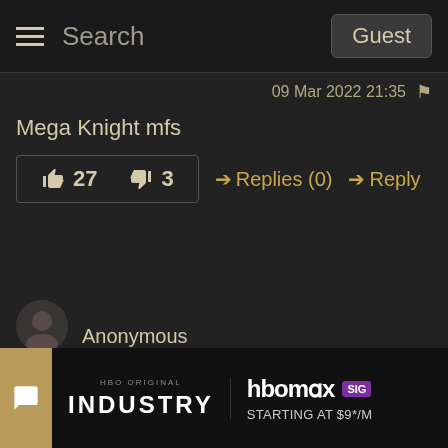Search  Guest
09 Mar 2022 21:35
Mega Knight mfs
👍 27  👎 3  → Replies (0)  → Reply
Anonymous
08 Mar 2022 22:59
unfortunately bleeding weapons are the only thing that people will use in pvp if they know what theyre
[Figure (screenshot): HBO Max Industry advertisement banner at bottom of page: shows 'HBO ORIGINAL INDUSTRY' text on left and 'HBOmax SIG STARTING AT $9*/M' on right with purple SIG badge]